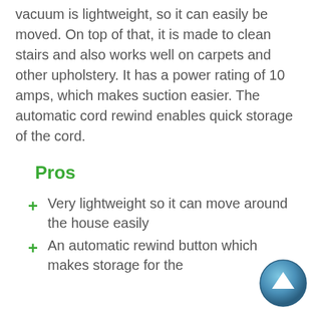vacuum is lightweight, so it can easily be moved. On top of that, it is made to clean stairs and also works well on carpets and other upholstery. It has a power rating of 10 amps, which makes suction easier. The automatic cord rewind enables quick storage of the cord.
Pros
Very lightweight so it can move around the house easily
An automatic rewind button which makes storage for the